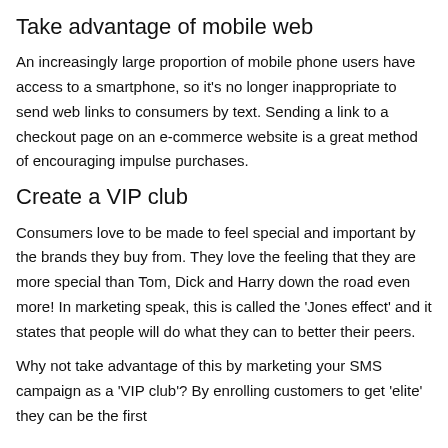Take advantage of mobile web
An increasingly large proportion of mobile phone users have access to a smartphone, so it's no longer inappropriate to send web links to consumers by text. Sending a link to a checkout page on an e-commerce website is a great method of encouraging impulse purchases.
Create a VIP club
Consumers love to be made to feel special and important by the brands they buy from. They love the feeling that they are more special than Tom, Dick and Harry down the road even more! In marketing speak, this is called the 'Jones effect' and it states that people will do what they can to better their peers.
Why not take advantage of this by marketing your SMS campaign as a 'VIP club'? By enrolling customers to get 'elite' they can be the first